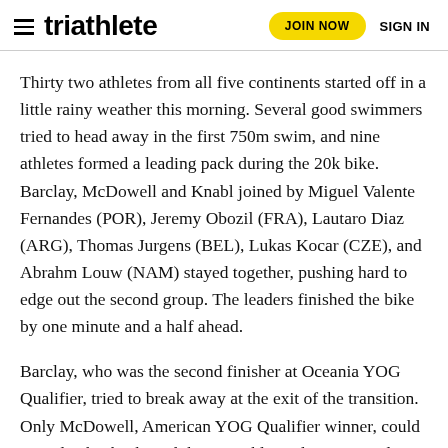triathlete | JOIN NOW | SIGN IN
Thirty two athletes from all five continents started off in a little rainy weather this morning. Several good swimmers tried to head away in the first 750m swim, and nine athletes formed a leading pack during the 20k bike. Barclay, McDowell and Knabl joined by Miguel Valente Fernandes (POR), Jeremy Obozil (FRA), Lautaro Diaz (ARG), Thomas Jurgens (BEL), Lukas Kocar (CZE), and Abrahm Louw (NAM) stayed together, pushing hard to edge out the second group. The leaders finished the bike by one minute and a half ahead.
Barclay, who was the second finisher at Oceania YOG Qualifier, tried to break away at the exit of the transition. Only McDowell, American YOG Qualifier winner, could stayed at his back, and the two athletes demonstrated an exciting head-to-head battle till the first half of the final run leg. Barclay,